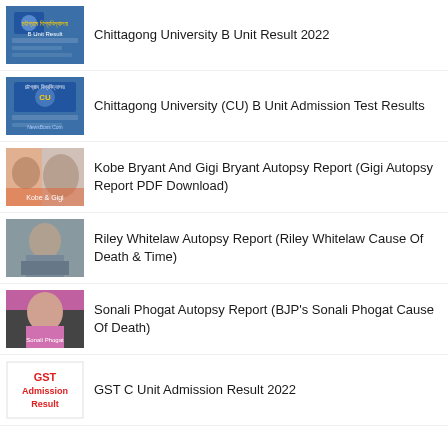Chittagong University B Unit Result 2022
Chittagong University (CU) B Unit Admission Test Results
Kobe Bryant And Gigi Bryant Autopsy Report (Gigi Autopsy Report PDF Download)
Riley Whitelaw Autopsy Report (Riley Whitelaw Cause Of Death & Time)
Sonali Phogat Autopsy Report (BJP's Sonali Phogat Cause Of Death)
GST C Unit Admission Result 2022